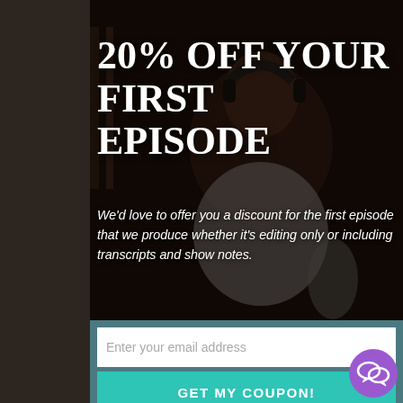[Figure (photo): Background photo of a person wearing headphones, smiling, with a dark overlay, suggesting a podcasting scene.]
20% OFF YOUR FIRST EPISODE
We'd love to offer you a discount for the first episode that we produce whether it's editing only or including transcripts and show notes.
Enter your email address
GET MY COUPON!